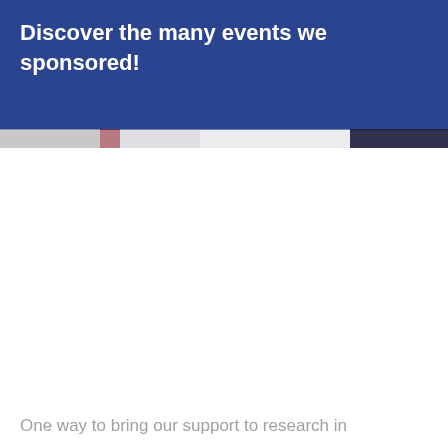Discover the many events we sponsored!
[Figure (photo): A narrow image strip showing partial event photos at the top of the content area, mostly washed out or cropped]
One way to bring our support to research in